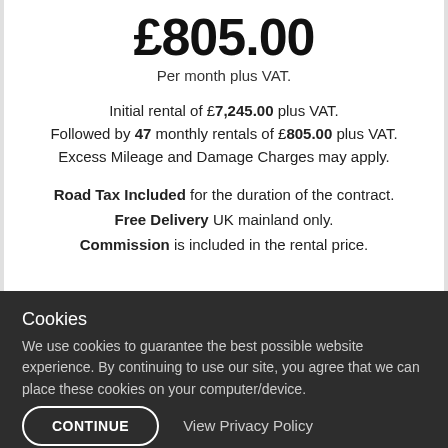£805.00
Per month plus VAT.
Initial rental of £7,245.00 plus VAT. Followed by 47 monthly rentals of £805.00 plus VAT. Excess Mileage and Damage Charges may apply.
Road Tax Included for the duration of the contract. Free Delivery UK mainland only. Commission is included in the rental price.
Cookies
We use cookies to guarantee the best possible website experience. By continuing to use our site, you agree that we can place these cookies on your computer/device.
CONTINUE
View Privacy Policy